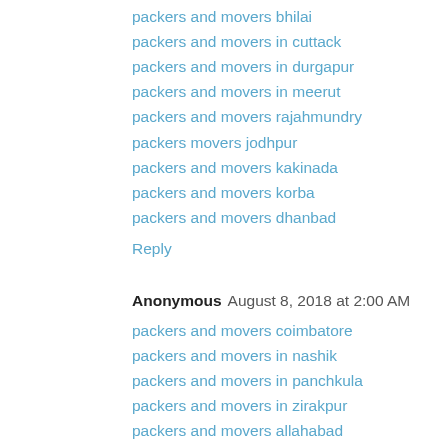packers and movers bhilai
packers and movers in cuttack
packers and movers in durgapur
packers and movers in meerut
packers and movers rajahmundry
packers movers jodhpur
packers and movers kakinada
packers and movers korba
packers and movers dhanbad
Reply
Anonymous  August 8, 2018 at 2:00 AM
packers and movers coimbatore
packers and movers in nashik
packers and movers in panchkula
packers and movers in zirakpur
packers and movers allahabad
packers and movers in amritsar
packers and movers mangalore
packers and movers bilaspur
packers and movers in ajmer